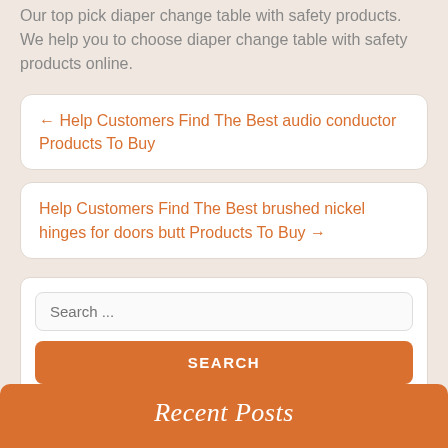Our top pick diaper change table with safety products. We help you to choose diaper change table with safety products online.
← Help Customers Find The Best audio conductor Products To Buy
Help Customers Find The Best brushed nickel hinges for doors butt Products To Buy →
Search ...
SEARCH
TOP
Recent Posts